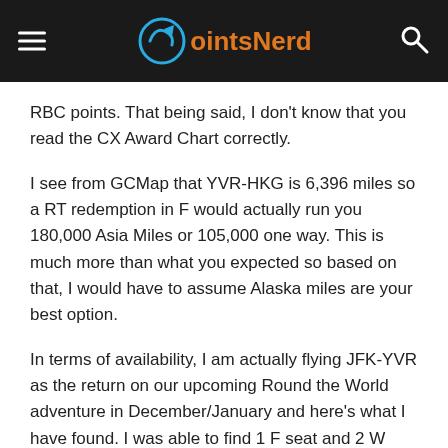PointsNerd
RBC points. That being said, I don't know that you read the CX Award Chart correctly.
I see from GCMap that YVR-HKG is 6,396 miles so a RT redemption in F would actually run you 180,000 Asia Miles or 105,000 one way. This is much more than what you expected so based on that, I would have to assume Alaska miles are your best option.
In terms of availability, I am actually flying JFK-YVR as the return on our upcoming Round the World adventure in December/January and here's what I have found. I was able to find 1 F seat and 2 W (Premium Economy) seats. I have searched daily with my saved searches